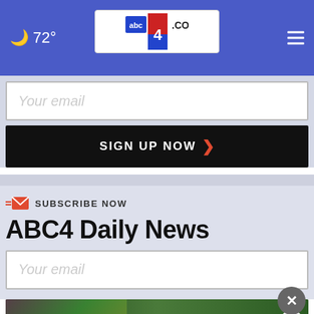72° abc4.com
[Figure (screenshot): Email input box with placeholder text 'Your email']
SIGN UP NOW
SUBSCRIBE NOW
ABC4 Daily News
[Figure (screenshot): Email input box with placeholder text 'Your email']
[Figure (screenshot): DISCOVERtheFOREST.org ad banner with Ad Council and US Forest Service logos]